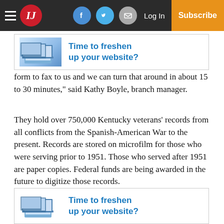IJ — Navigation bar with logo, social icons, Log In, Subscribe
[Figure (other): Advertisement banner: laptop/device image with text 'Time to freshen up your website?']
form to fax to us and we can turn that around in about 15 to 30 minutes," said Kathy Boyle, branch manager.
They hold over 750,000 Kentucky veterans' records from all conflicts from the Spanish-American War to the present. Records are stored on microfilm for those who were serving prior to 1951. Those who served after 1951 are paper copies. Federal funds are being awarded in the future to digitize those records.
“We pride ourselves on customer service and taking
[Figure (other): Advertisement banner: laptop/device image with text 'Time to freshen up your website?']